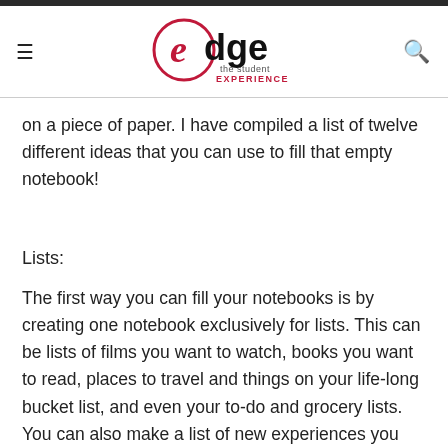edge the student EXPERIENCE
on a piece of paper. I have compiled a list of twelve different ideas that you can use to fill that empty notebook!
Lists:
The first way you can fill your notebooks is by creating one notebook exclusively for lists. This can be lists of films you want to watch, books you want to read, places to travel and things on your life-long bucket list, and even your to-do and grocery lists. You can also make a list of new experiences you want to